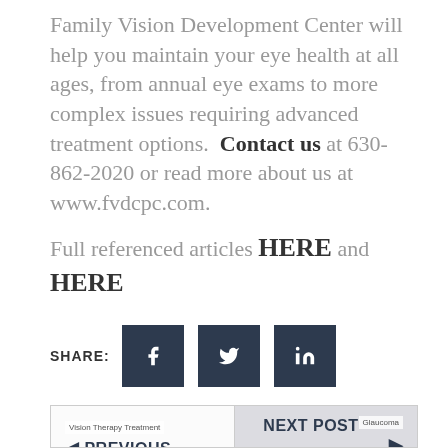Family Vision Development Center will help you maintain your eye health at all ages, from annual eye exams to more complex issues requiring advanced treatment options.  Contact us at 630-862-2020 or read more about us at www.fvdcpc.com.
Full referenced articles HERE and HERE
[Figure (infographic): Social media share buttons for Facebook, Twitter, and LinkedIn with SHARE: label]
[Figure (infographic): Navigation section with Previous Post (Vision Therapy is Effective) and Next Post (Glaucoma Causes, Symptoms)]